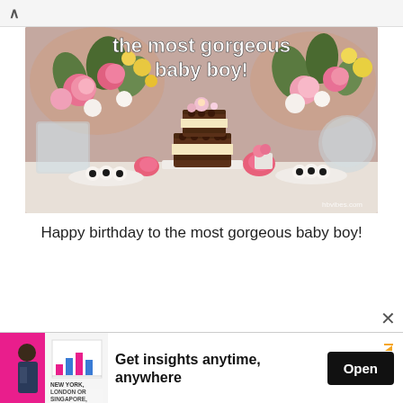[Figure (photo): A birthday celebration photo showing a two-tier chocolate naked cake decorated with flowers on a white serving board. Pink and yellow flowers in vases on either side. Desserts/cookies on plates flanking the cake. Mauve/rose wall background. Text overlay reads 'the most gorgeous baby boy!' hbvibes.com watermark.]
Happy birthday to the most gorgeous baby boy!
[Figure (infographic): Advertisement banner: Image of a man at a presentation with 'NEW YORK, LONDON OR SINGAPORE,' text overlay. Ad text reads 'Get insights anytime, anywhere' with an Open button.]